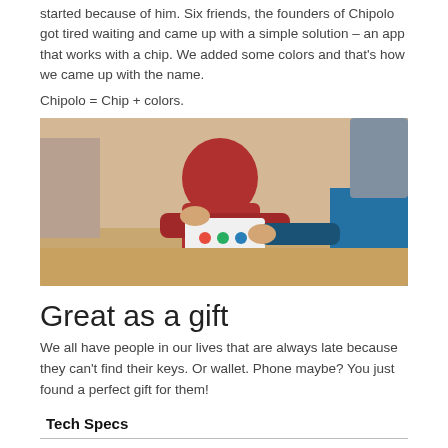started because of him. Six friends, the founders of Chipolo got tired waiting and came up with a simple solution – an app that works with a chip. We added some colors and that's how we came up with the name.
Chipolo = Chip + colors.
[Figure (photo): Photo of two people exchanging a Chipolo product package. One person wearing red, the other in blue.]
Great as a gift
We all have people in our lives that are always late because they can't find their keys. Or wallet. Phone maybe? You just found a perfect gift for them!
| Tech Specs |  |
| --- | --- |
| RANGE | 200 ft - line of sight (60 m) |